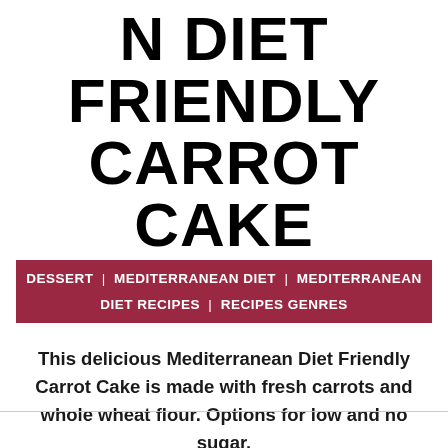N DIET FRIENDLY CARROT CAKE
DESSERT | MEDITERRANEAN DIET | MEDITERRANEAN DIET RECIPES | RECIPES GENRES
This delicious Mediterranean Diet Friendly Carrot Cake is made with fresh carrots and whole wheat flour. Options for low and no sugar.
4.37 from 22 votes